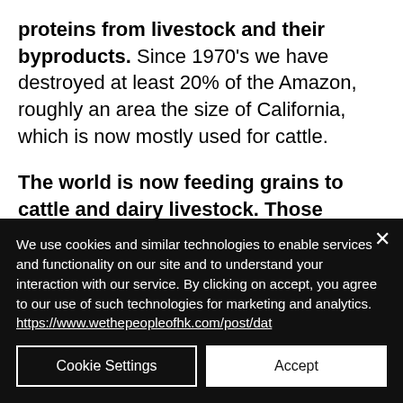proteins from livestock and their byproducts. Since 1970's we have destroyed at least 20% of the Amazon, roughly an area the size of California, which is now mostly used for cattle.
The world is now feeding grains to cattle and dairy livestock. Those same grains could feed 8.7 billion humans, but at present roughly 1 billion humans
We use cookies and similar technologies to enable services and functionality on our site and to understand your interaction with our service. By clicking on accept, you agree to our use of such technologies for marketing and analytics. https://www.wethepeopleofhk.com/post/dat